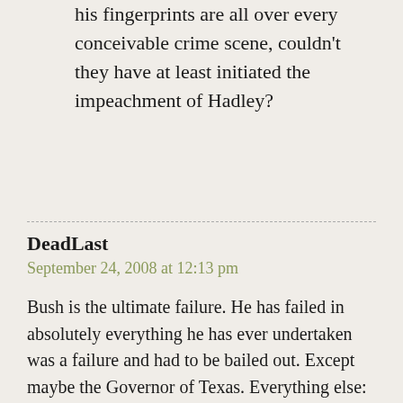his fingerprints are all over every conceivable crime scene, couldn't they have at least initiated the impeachment of Hadley?
DeadLast
September 24, 2008 at 12:13 pm
Bush is the ultimate failure. He has failed in absolutely everything he has ever undertaken was a failure and had to be bailed out. Except maybe the Governor of Texas. Everything else: College, National Guard, Arbusto, Harkin, even the Texas Rangers (it